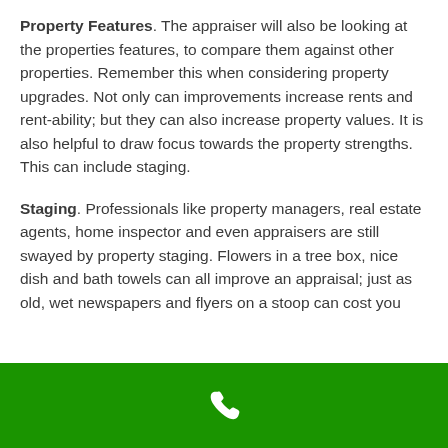Property Features. The appraiser will also be looking at the properties features, to compare them against other properties. Remember this when considering property upgrades. Not only can improvements increase rents and rent-ability; but they can also increase property values. It is also helpful to draw focus towards the property strengths. This can include staging.
Staging. Professionals like property managers, real estate agents, home inspector and even appraisers are still swayed by property staging. Flowers in a tree box, nice dish and bath towels can all improve an appraisal; just as old, wet newspapers and flyers on a stoop can cost you
[Figure (illustration): Green footer bar with a white phone/call icon centered]